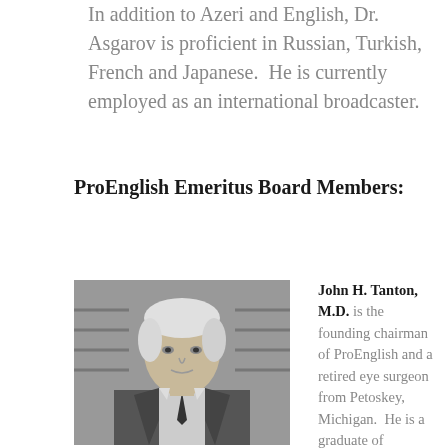In addition to Azeri and English, Dr. Asgarov is proficient in Russian, Turkish, French and Japanese.  He is currently employed as an international broadcaster.
ProEnglish Emeritus Board Members:
[Figure (photo): Black and white headshot photo of John H. Tanton, M.D., an older man with light hair wearing a suit and tie.]
John H. Tanton, M.D. is the founding chairman of ProEnglish and a retired eye surgeon from Petoskey, Michigan.  He is a graduate of Michigan State Universit...